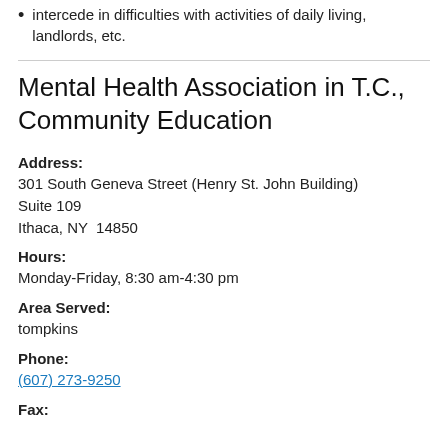intercede in difficulties with activities of daily living, landlords, etc.
Mental Health Association in T.C., Community Education
Address:
301 South Geneva Street (Henry St. John Building)
Suite 109
Ithaca, NY  14850
Hours:
Monday-Friday, 8:30 am-4:30 pm
Area Served:
tompkins
Phone:
(607) 273-9250
Fax: